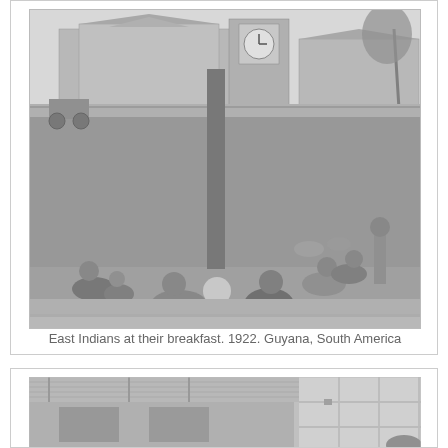[Figure (photo): Black and white historical photograph from 1922 showing East Indians sitting on grass at their breakfast in Guyana, South America. Several people are seated and reclining on a lawn with large buildings with a clock tower visible in the background. A tree trunk is visible in the foreground center.]
East Indians at their breakfast. 1922. Guyana, South America
[Figure (photo): Partial black and white photograph showing what appears to be a wooden structure or building with shuttered windows and a corrugated metal roof overhang. Part of a person is visible at the bottom right edge.]